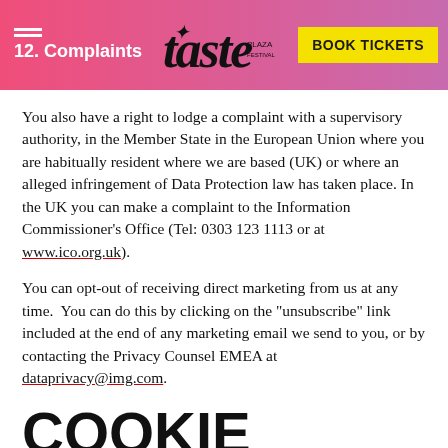12. Complaints | Taste [logo] | BOOK TICKETS
You also have a right to lodge a complaint with a supervisory authority, in the Member State in the European Union where you are habitually resident where we are based (UK) or where an alleged infringement of Data Protection law has taken place. In the UK you can make a complaint to the Information Commissioner's Office (Tel: 0303 123 1113 or at www.ico.org.uk).
You can opt-out of receiving direct marketing from us at any time.  You can do this by clicking on the "unsubscribe" link included at the end of any marketing email we send to you, or by contacting the Privacy Counsel EMEA at dataprivacy@img.com.
COOKIE POLICY